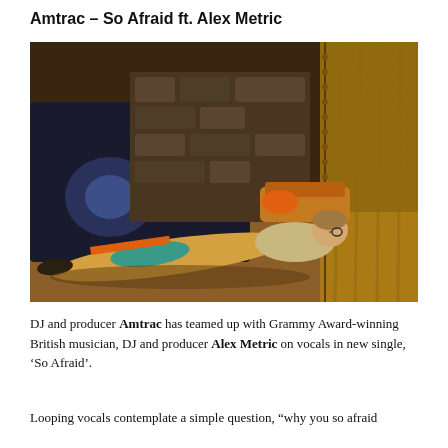Amtrac – So Afraid ft. Alex Metric
[Figure (photo): A person lying on the floor in a colorful patterned outfit, facing away toward a dark television screen, with a stone fireplace and curtains visible in a dimly lit room.]
DJ and producer Amtrac has teamed up with Grammy Award-winning British musician, DJ and producer Alex Metric on vocals in new single, 'So Afraid'.
Looping vocals contemplate a simple question, "why you so afraid